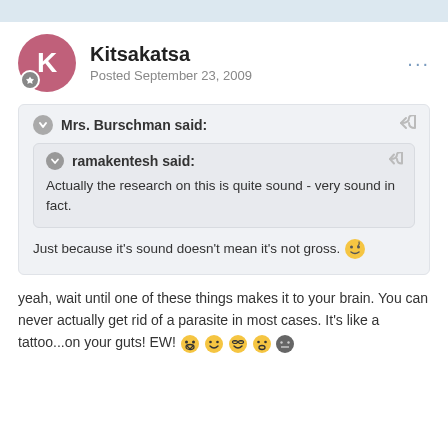Kitsakatsa
Posted September 23, 2009
Mrs. Burschman said:
ramakentesh said:
Actually the research on this is quite sound - very sound in fact.
Just because it's sound doesn't mean it's not gross. 😉
yeah, wait until one of these things makes it to your brain. You can never actually get rid of a parasite in most cases. It's like a tattoo...on your guts! EW! 😮😊😎😶🔘